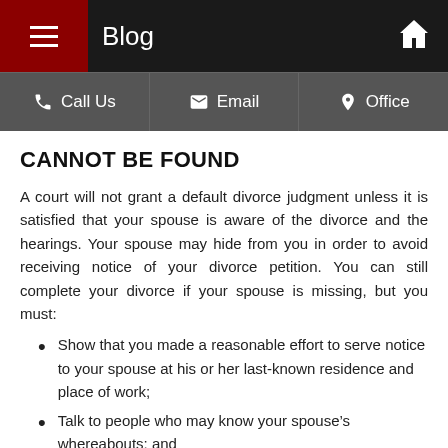Blog
Call Us | Email | Office
CANNOT BE FOUND
A court will not grant a default divorce judgment unless it is satisfied that your spouse is aware of the divorce and the hearings. Your spouse may hide from you in order to avoid receiving notice of your divorce petition. You can still complete your divorce if your spouse is missing, but you must:
Show that you made a reasonable effort to serve notice to your spouse at his or her last-known residence and place of work;
Talk to people who may know your spouse’s whereabouts; and
Have a notice of your divorce summons published in a publication that is distributed in